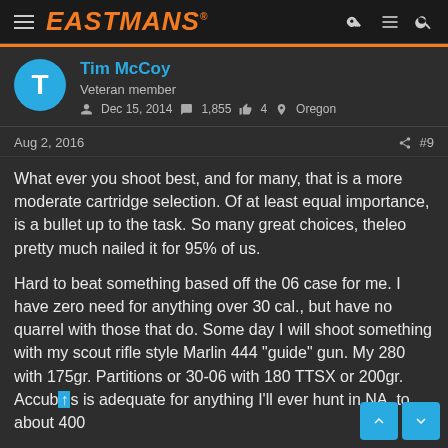EASTMANS
Tim McCoy
Veteran member
Dec 15, 2014  1,855  4  Oregon
Aug 2, 2016  #9
What ever you shoot best, and for many, that is a more moderate cartridge selection. Of at least equal importance, is a bullet up to the task. So many great choices, theleo pretty much nailed it for 95% of us.
Hard to beat something based off the 06 case for me. I have zero need for anything over 30 cal., but have no quarrel with those that do. Some day I will shoot something with my scout rifle style Marlin 444 "guide" gun. My 280 with 175gr. Partitions or 30-06 with 180 TTSX or 200gr. Accubonds is adequate for anything I'll ever hunt in NA, to about 400